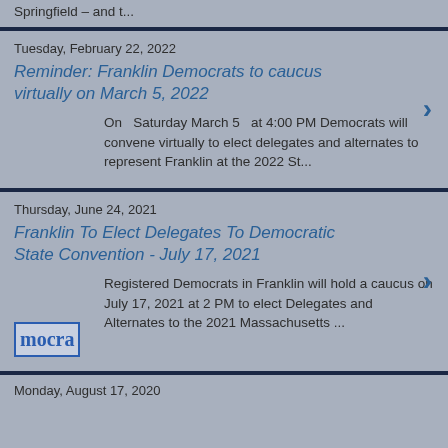Springfield – and t...
Tuesday, February 22, 2022
Reminder: Franklin Democrats to caucus virtually on March 5, 2022
On Saturday March 5 at 4:00 PM Democrats will convene virtually to elect delegates and alternates to represent Franklin at the 2022 St...
Thursday, June 24, 2021
Franklin To Elect Delegates To Democratic State Convention - July 17, 2021
Registered Democrats in Franklin will hold a caucus on July 17, 2021 at 2 PM to elect Delegates and Alternates to the 2021 Massachusetts ...
Monday, August 17, 2020